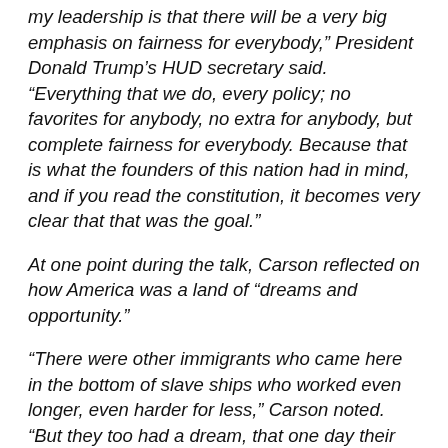my leadership is that there will be a very big emphasis on fairness for everybody," President Donald Trump's HUD secretary said. "Everything that we do, every policy; no favorites for anybody, no extra for anybody, but complete fairness for everybody. Because that is what the founders of this nation had in mind, and if you read the constitution, it becomes very clear that that was the goal."
At one point during the talk, Carson reflected on how America was a land of “dreams and opportunity.”
“There were other immigrants who came here in the bottom of slave ships who worked even longer, even harder for less,” Carson noted. “But they too had a dream, that one day their sons, daughters, granddaughters, great-grandsons, great-granddaughters might pursue prosperity and happiness.”